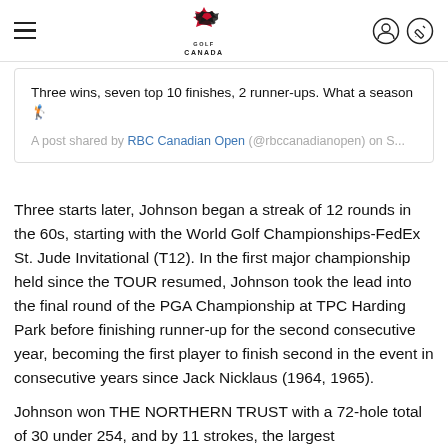Golf Canada navigation bar with hamburger menu, Golf Canada logo, user and edit icons
Three wins, seven top 10 finishes, 2 runner-ups. What a season 🏌
A post shared by RBC Canadian Open (@rbccanadianopen) on S...
Three starts later, Johnson began a streak of 12 rounds in the 60s, starting with the World Golf Championships-FedEx St. Jude Invitational (T12). In the first major championship held since the TOUR resumed, Johnson took the lead into the final round of the PGA Championship at TPC Harding Park before finishing runner-up for the second consecutive year, becoming the first player to finish second in the event in consecutive years since Jack Nicklaus (1964, 1965).
Johnson won THE NORTHERN TRUST with a 72-hole total of 30 under 254, and by 11 strokes, the largest...